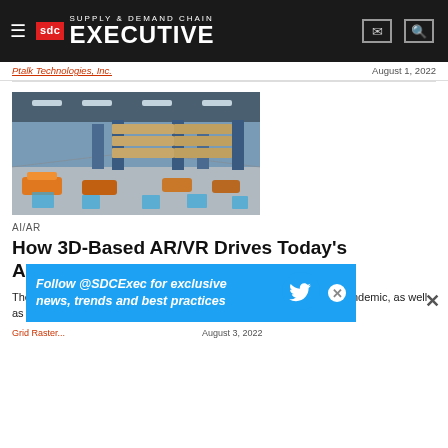SDC Supply & Demand Chain Executive
Ptalk Technologies, Inc.   August 1, 2022
[Figure (photo): Interior of a large automated warehouse with robotic vehicles moving boxes on a concrete floor, with tall blue steel shelving racks stacked with pallets of goods in the background.]
AI/AR
How 3D-Based AR/VR Drives Today's Automation, Robotics Technologies
The evolving business climate in 2022 resulting from the continued pandemic, as well as spinoff issues such as supply chain, labor and inflati... and...
Grid Raster...   August 3, 2022
[Figure (screenshot): Twitter follow banner: Follow @SDCExec for exclusive news, trends and best practices]